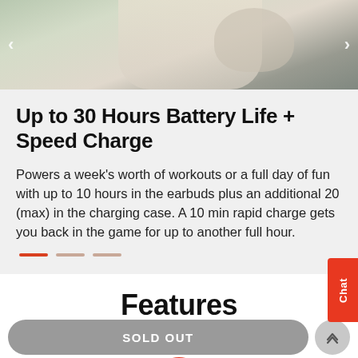[Figure (photo): Photo strip of a person working out, partially visible at the top of the page, with left and right navigation arrows overlaid]
Up to 30 Hours Battery Life + Speed Charge
Powers a week's worth of workouts or a full day of fun with up to 10 hours in the earbuds plus an additional 20 (max) in the charging case. A 10 min rapid charge gets you back in the game for up to another full hour.
Features
SOLD OUT